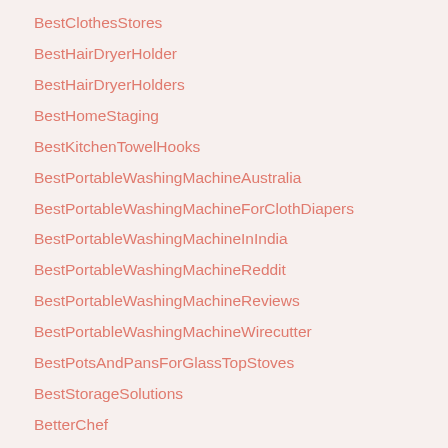BestClothesStores
BestHairDryerHolder
BestHairDryerHolders
BestHomeStaging
BestKitchenTowelHooks
BestPortableWashingMachineAustralia
BestPortableWashingMachineForClothDiapers
BestPortableWashingMachineInIndia
BestPortableWashingMachineReddit
BestPortableWashingMachineReviews
BestPortableWashingMachineWirecutter
BestPotsAndPansForGlassTopStoves
BestStorageSolutions
BetterChef
bbgcelebrate